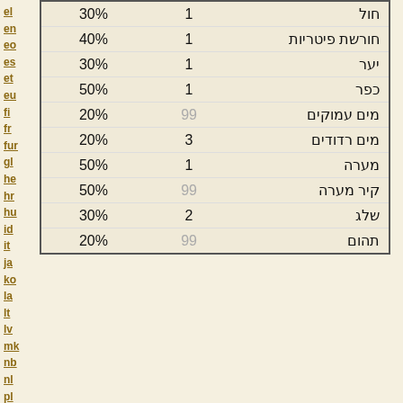| חול | 1 | 30% |
| חורשת פיטריות | 1 | 40% |
| יער | 1 | 30% |
| כפר | 1 | 50% |
| מים עמוקים | 99 | 20% |
| מים רדודים | 3 | 20% |
| מערה | 1 | 50% |
| קיר מערה | 99 | 50% |
| שלג | 2 | 30% |
| תהום | 99 | 20% |